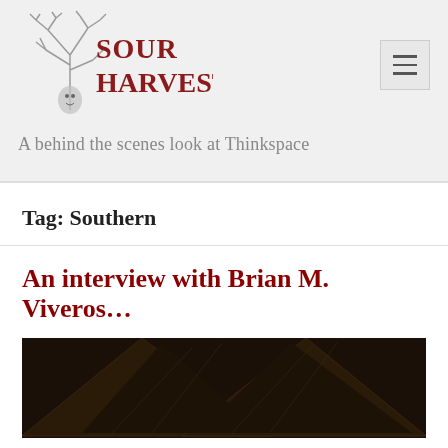[Figure (logo): Sour Harvest logo with illustrated tree and ghost-like face, hand-lettered text reading SOUR HARVEST]
A behind the scenes look at Thinkspace
Tag: Southern
An interview with Brian M. Viveros...
[Figure (photo): Partial view of a dark artwork showing pointed wing-like shapes against a dark background]